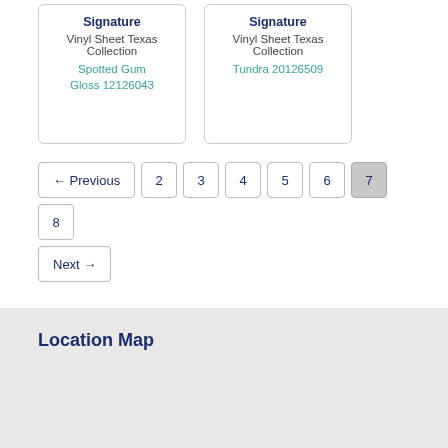Signature
Vinyl Sheet Texas Collection
Spotted Gum Gloss 12126043
Signature
Vinyl Sheet Texas Collection
Tundra 20126509
← Previous
2
3
4
5
6
7
8
Next →
Location Map